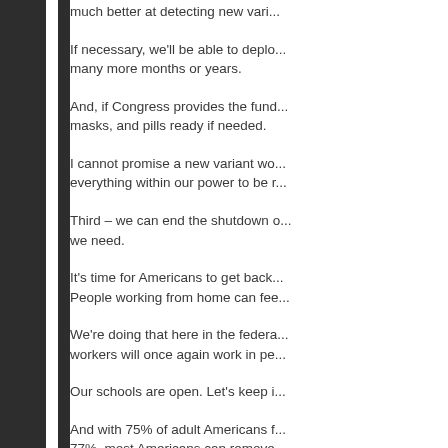much better at detecting new varian...
If necessary, we'll be able to deplo... many more months or years.
And, if Congress provides the fund... masks, and pills ready if needed.
I cannot promise a new variant wo... everything within our power to be r...
Third – we can end the shutdown o... we need.
It's time for Americans to get back... People working from home can fee...
We're doing that here in the federa... workers will once again work in pe...
Our schools are open. Let's keep i...
And with 75% of adult Americans f... 77%, most Americans can remove... classroom, and move forward safe...